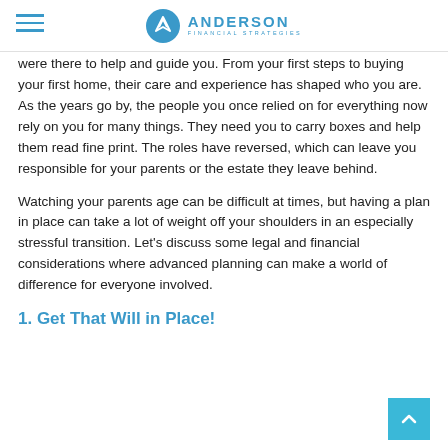Anderson Financial Strategies
were there to help and guide you. From your first steps to buying your first home, their care and experience has shaped who you are. As the years go by, the people you once relied on for everything now rely on you for many things. They need you to carry boxes and help them read fine print. The roles have reversed, which can leave you responsible for your parents or the estate they leave behind.
Watching your parents age can be difficult at times, but having a plan in place can take a lot of weight off your shoulders in an especially stressful transition. Let's discuss some legal and financial considerations where advanced planning can make a world of difference for everyone involved.
1. Get That Will in Place!